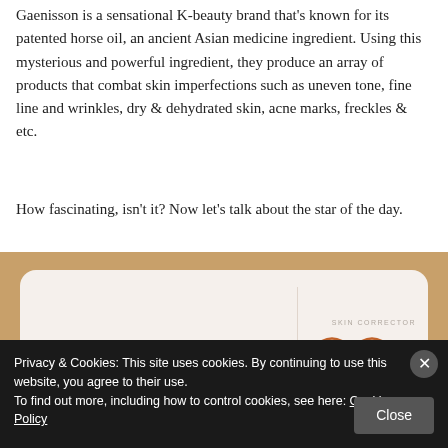Gaenisson is a sensational K-beauty brand that's known for its patented horse oil, an ancient Asian medicine ingredient. Using this mysterious and powerful ingredient, they produce an array of products that combat skin imperfections such as uneven tone, fine line and wrinkles, dry & dehydrated skin, acne marks, freckles & etc.
How fascinating, isn't it? Now let's talk about the star of the day.
[Figure (photo): Photo of a K-beauty sheet mask product packet (5STEPS brand, horse oil cream mask) on a wooden surface. The packet is white/cream colored with Korean text and a 'SKIN CORRECTOR' label on the right side with orange wave decorations.]
Privacy & Cookies: This site uses cookies. By continuing to use this website, you agree to their use.
To find out more, including how to control cookies, see here: Cookie Policy